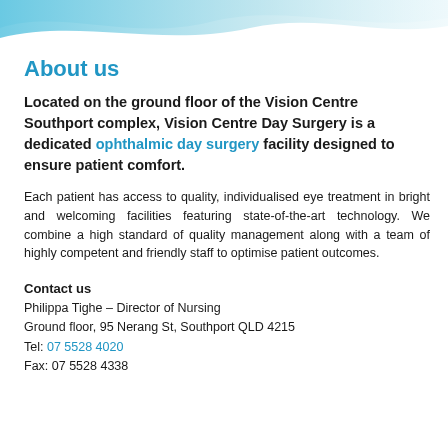[Figure (illustration): Decorative wave header graphic in light blue/teal tones at the top of the page]
About us
Located on the ground floor of the Vision Centre Southport complex, Vision Centre Day Surgery is a dedicated ophthalmic day surgery facility designed to ensure patient comfort.
Each patient has access to quality, individualised eye treatment in bright and welcoming facilities featuring state-of-the-art technology. We combine a high standard of quality management along with a team of highly competent and friendly staff to optimise patient outcomes.
Contact us
Philippa Tighe – Director of Nursing
Ground floor, 95 Nerang St, Southport QLD 4215
Tel: 07 5528 4020
Fax: 07 5528 4338